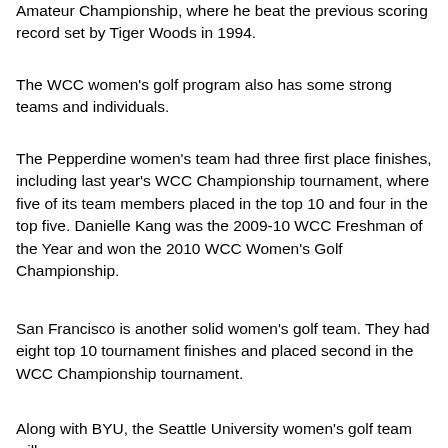Amateur Championship, where he beat the previous scoring record set by Tiger Woods in 1994.
The WCC women's golf program also has some strong teams and individuals.
The Pepperdine women's team had three first place finishes, including last year's WCC Championship tournament, where five of its team members placed in the top 10 and four in the top five. Danielle Kang was the 2009-10 WCC Freshman of the Year and won the 2010 WCC Women's Golf Championship.
San Francisco is another solid women's golf team. They had eight top 10 tournament finishes and placed second in the WCC Championship tournament.
Along with BYU, the Seattle University women's golf team will